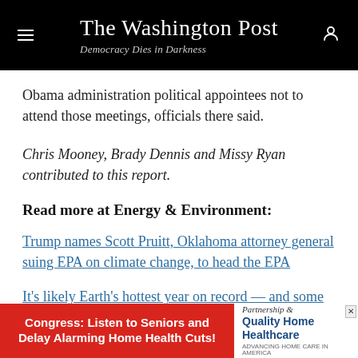The Washington Post — Democracy Dies in Darkness
Obama administration political appointees not to attend those meetings, officials there said.
Chris Mooney, Brady Dennis and Missy Ryan contributed to this report.
Read more at Energy & Environment:
Trump names Scott Pruitt, Oklahoma attorney general suing EPA on climate change, to head the EPA
It's likely Earth's hottest year on record — and some people are already talking about global cooling
[Figure (other): Advertisement banner: red background with text 'Congress: Listen to Seniors and Delay Alarming Home Health Cuts!' alongside 'Partnership & Quality Home Healthcare' logo]